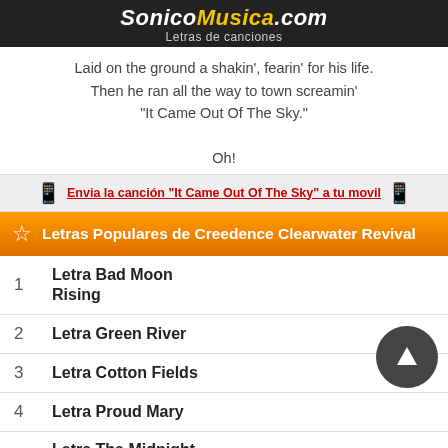SonicoMusica.com — Letras de canciones
Laid on the ground a shakin', fearin' for his life.
Then he ran all the way to town screamin'
"It Came Out Of The Sky."

Oh!
Envia la canción "It Came Out Of The Sky" a tu movil
Letras Populares de Creedence Clearwater Revival
1  Letra Bad Moon Rising
2  Letra Green River
3  Letra Cotton Fields
4  Letra Proud Mary
5  Letra The Midnight Special
[Figure (screenshot): BitLife app advertisement banner at bottom of page]